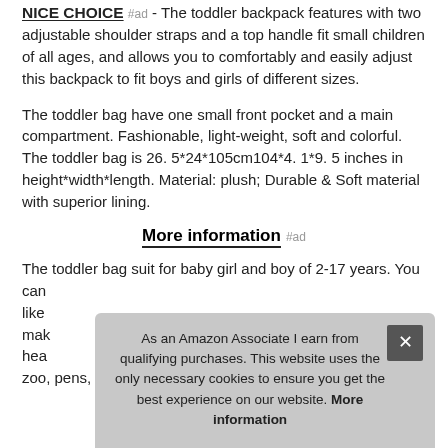NICE CHOICE #ad - The toddler backpack features with two adjustable shoulder straps and a top handle fit small children of all ages, and allows you to comfortably and easily adjust this backpack to fit boys and girls of different sizes.
The toddler bag have one small front pocket and a main compartment. Fashionable, light-weight, soft and colorful. The toddler bag is 26. 5*24*105cm104*4. 1*9. 5 inches in height*width*length. Material: plush; Durable & Soft material with superior lining.
More information #ad
The toddler bag suit for baby girl and boy of 2-17 years. You can like mak hea zoo, pens, traveling and any other outdoor activities.
As an Amazon Associate I earn from qualifying purchases. This website uses the only necessary cookies to ensure you get the best experience on our website. More information